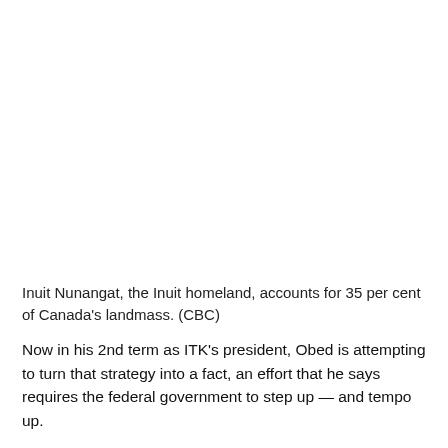Inuit Nunangat, the Inuit homeland, accounts for 35 per cent of Canada's landmass. (CBC)
Now in his 2nd term as ITK's president, Obed is attempting to turn that strategy into a fact, an effort that he says requires the federal government to step up — and tempo up.